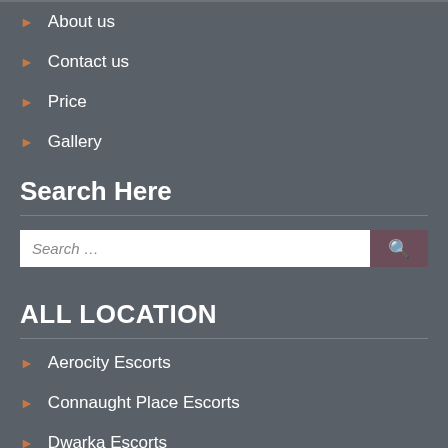About us
Contact us
Price
Gallery
Search Here
ALL LOCATION
Aerocity Escorts
Connaught Place Escorts
Dwarka Escorts